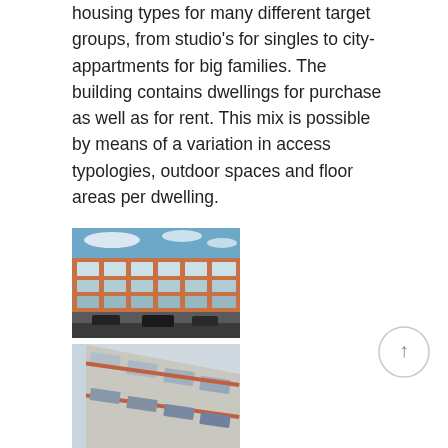housing types for many different target groups, from studio's for singles to city-appartments for big families. The building contains dwellings for purchase as well as for rent. This mix is possible by means of a variation in access typologies, outdoor spaces and floor areas per dwelling.
[Figure (photo): Exterior photo of a multi-story residential building with red/orange cladding, multiple windows, and cars parked in front. Blue sky with clouds visible above.]
[Figure (photo): Close-up exterior photo of a building facade showing rows of windows and balconies at an angle, with light-colored cladding and red accents.]